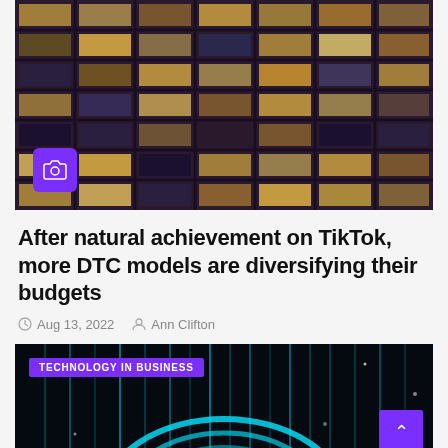[Figure (photo): Night-time photo of a large office building with illuminated windows showing various interior scenes, dark purple/brown exterior facade with grid of windows]
After natural achievement on TikTok, more DTC models are diversifying their budgets
Aug 13, 2022  Ann Clifton
[Figure (photo): Dark technology background with glowing teal/cyan circular arc shape with vertical light lines, with 'TECHNOLOGY IN BUSINESS' badge overlay]